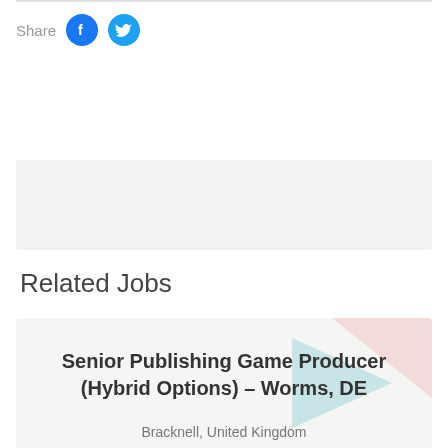Share
Related Jobs
Senior Publishing Game Producer (Hybrid Options) – Worms, DE
Bracknell, United Kingdom